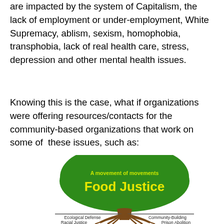are impacted by the system of Capitalism, the lack of employment or under-employment, White Supremacy, ablism, sexism, homophobia, transphobia, lack of real health care, stress, depression and other mental health issues.
Knowing this is the case, what if organizations were offering resources/contacts for the community-based organizations that work on some of these issues, such as:
[Figure (illustration): A tree illustration with green canopy containing text 'A movement of movements' in green and 'Food Justice' in large yellow text. The tree has a brown trunk and roots extending below ground. Below the ground line are labels: 'Ecological Defense', 'Community-Building', 'Racial Justice', 'Prison Abolition'.]